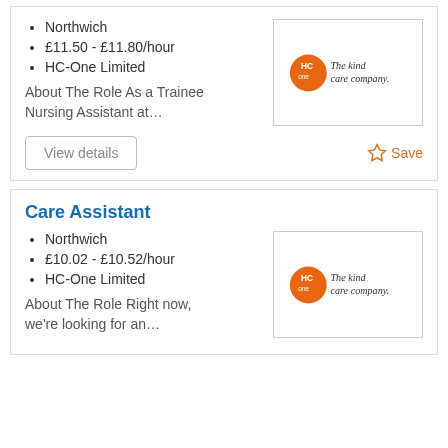Northwich
£11.50 - £11.80/hour
HC-One Limited
About The Role As a Trainee Nursing Assistant at…
[Figure (logo): HC-One 'The kind care company' logo with orange circle]
Care Assistant
Northwich
£10.02 - £10.52/hour
HC-One Limited
About The Role Right now, we're looking for an…
[Figure (logo): HC-One 'The kind care company' logo with orange circle]